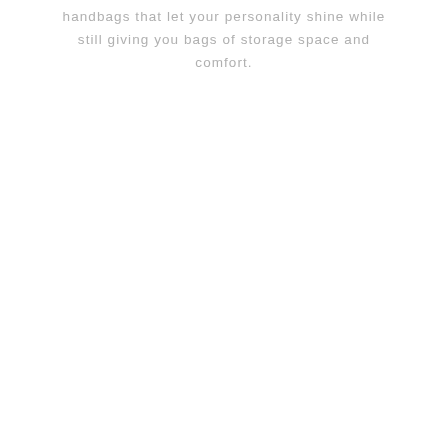handbags that let your personality shine while still giving you bags of storage space and comfort.